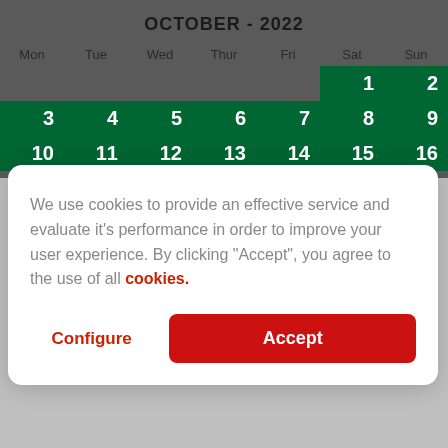OCTOBER - 2022
| Mon | Tue | Wed | Thur | Fri | Sat | Sun |
| --- | --- | --- | --- | --- | --- | --- |
|  |  |  |  |  | 1 | 2 |
| 3 | 4 | 5 | 6 | 7 | 8 | 9 |
| 10 | 11 | 12 | 13 | 14 | 15 | 16 |
We use cookies to provide an effective service and evaluate it's performance in order to improve your user experience. By clicking "Accept", you agree to the use of all cookies.
Configure
Accept